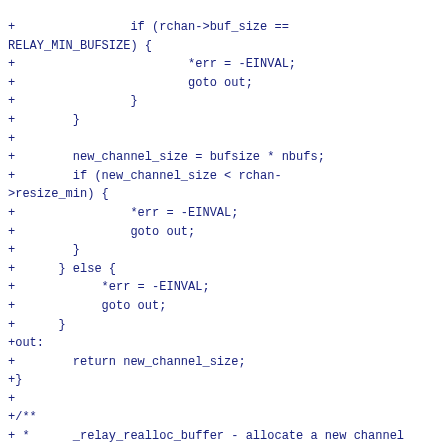+                if (rchan->buf_size ==
RELAY_MIN_BUFSIZE) {
+                        *err = -EINVAL;
+                        goto out;
+                }
+        }
+
+        new_channel_size = bufsize * nbufs;
+        if (new_channel_size < rchan-
>resize_min) {
+                *err = -EINVAL;
+                goto out;
+        }
+    } else {
+        *err = -EINVAL;
+        goto out;
+    }
+out:
+        return new_channel_size;
+}
+
+/**
+ *      _relay_realloc_buffer - allocate a new channel buffer
+ *      @rchan: the channel
+ *      @bufsize: the new sub-buffer size
+ *      @nbufs: the new number of sub-buffers
+ *
+ *      Allocates a new channel buffer using the specified sub-buffer size